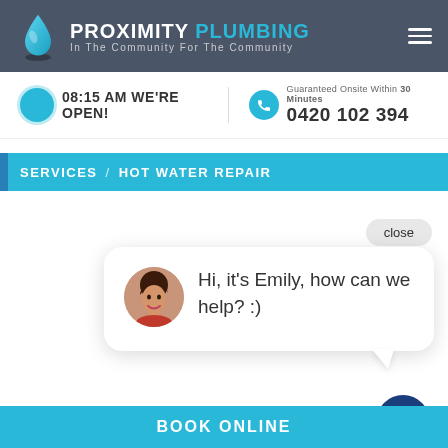[Figure (logo): Proximity Plumbing logo with water drop icon, company name and tagline 'In The Community For The Community']
08:15 AM WE'RE OPEN!
Guaranteed Onsite Within 30 Minutes
0420 102 394
SERVICES / HOT WATER REPAIR
close
Hi, it's Emily, how can we help? :)
BOOK ONLINE